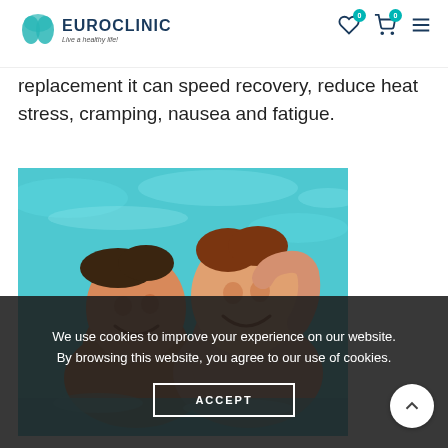EUROCLINIC – Live a healthy life!
replacement it can speed recovery, reduce heat stress, cramping, nausea and fatigue.
[Figure (photo): Two young boys smiling in a swimming pool with blue water in the background]
We use cookies to improve your experience on our website. By browsing this website, you agree to our use of cookies.
ACCEPT